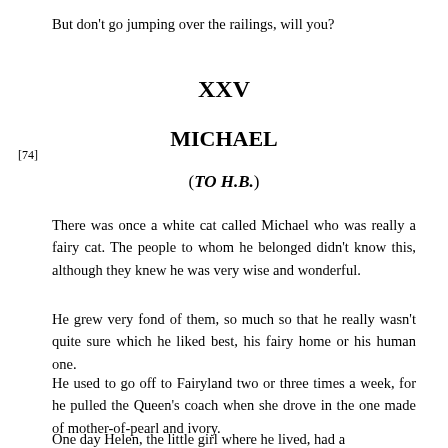But don't go jumping over the railings, will you?
XXV
[74]
MICHAEL
(TO H.B.)
There was once a white cat called Michael who was really a fairy cat. The people to whom he belonged didn't know this, although they knew he was very wise and wonderful.
He grew very fond of them, so much so that he really wasn't quite sure which he liked best, his fairy home or his human one.
He used to go off to Fairyland two or three times a week, for he pulled the Queen's coach when she drove in the one made of mother-of-pearl and ivory.
One day Helen, the little girl where he lived, had a